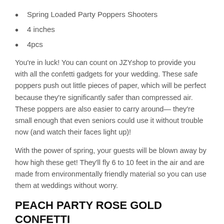Spring Loaded Party Poppers Shooters
4 inches
4pcs
You’re in luck! You can count on JZYshop to provide you with all the confetti gadgets for your wedding. These safe poppers push out little pieces of paper, which will be perfect because they’re significantly safer than compressed air. These poppers are also easier to carry around— they’re small enough that even seniors could use it without trouble now (and watch their faces light up)!
With the power of spring, your guests will be blown away by how high these get! They’ll fly 6 to 10 feet in the air and are made from environmentally friendly material so you can use them at weddings without worry.
PEACH PARTY ROSE GOLD CONFETTI POPPERS
[Figure (photo): Partial view of product images at the bottom of the page, showing peach/rose gold confetti poppers]